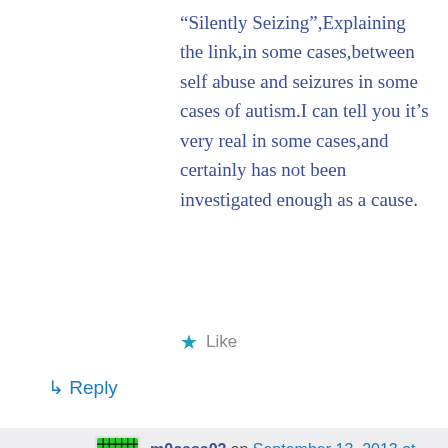“Silently Seizing”,Explaining the link,in some cases,between self abuse and seizures in some cases of autism.I can tell you it’s very real in some cases,and certainly has not been investigated enough as a cause.
★ Like
↳ Reply
m0casa02 on September 13, 2013 at 6:32 pm
Thank very much for the comment Roger. There were some reports of SIBs associate to seizures in the late 1980’s and early 1990’s. For SIBs that seem to happen for the first time near puberty, this may be a